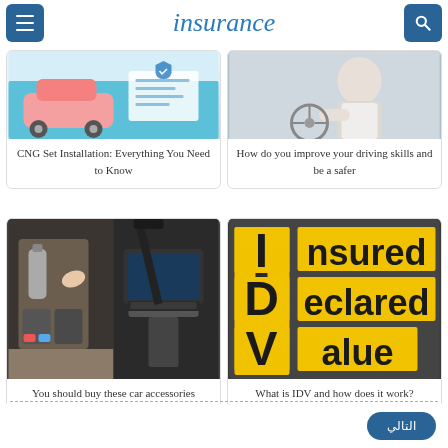insurance
[Figure (illustration): Cartoon illustration of car insurance concept with pink car and documents]
CNG Set Installation: Everything You Need to Know
[Figure (photo): Photo of a person driving a car]
How do you improve your driving skills and be a safer
[Figure (photo): Photo of car accessories including organizer bag and laptop tray]
You should buy these car accessories
[Figure (photo): Photo of road surface with yellow stencil text reading 'Insured Declared Value']
What is IDV and how does it work?